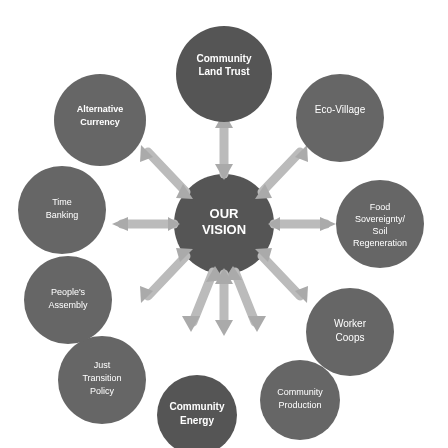[Figure (infographic): Radial diagram with 'OUR VISION' at center circle surrounded by 10 dark grey circles connected by double-headed arrows: Community Land Trust (top), Eco-Village (top-right), Food Sovereignty/Soil Regeneration (right), Worker Coops (lower-right), Community Production (bottom-right), Community Energy (bottom), Just Transition Policy (bottom-left), People's Assembly (left), Time Banking (left), Alternative Currency (upper-left)]